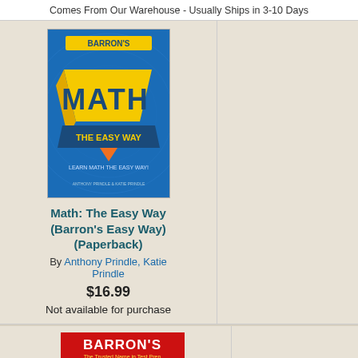Comes From Our Warehouse - Usually Ships in 3-10 Days
[Figure (illustration): Book cover: Math: The Easy Way (Barron's Easy Way) - blue cover with colorful 3D 'MATH' text and 'THE EASY WAY' banner, Barron's logo at top]
Math: The Easy Way (Barron's Easy Way) (Paperback)
By Anthony Prindle, Katie Prindle
$16.99
Not available for purchase
[Figure (illustration): Book cover: Barron's SAT Math Workbook - red Barron's header, white background with red SAT text and 'MATH WORKBOOK' text below]